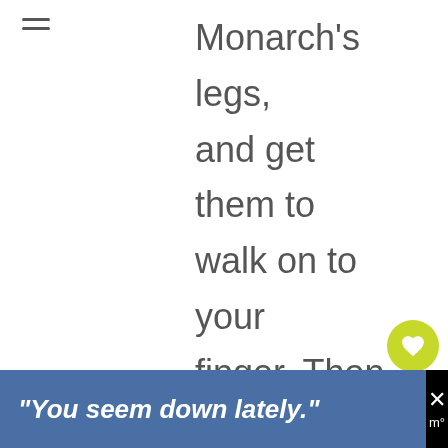[Figure (other): Hamburger menu icon (three horizontal lines) in top-left corner]
Monarch's legs, and get them to walk on to your finger. Then (without touching or pressing on the wings) slowly and calmly bring
[Figure (other): Heart/like button (green circle with white heart icon) showing 853 likes, and a share button below it]
"You seem down lately."